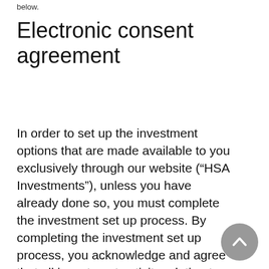below.
Electronic consent agreement
In order to set up the investment options that are made available to you exclusively through our website (“HSA Investments”), unless you have already done so, you must complete the investment set up process. By completing the investment set up process, you acknowledge and agree that all investment activity relating to your health savings account shall be governed by the terms and conditions of this Electronic Consent Agreement and the terms and conditions of the Custodial and Deposit Agreement, which is